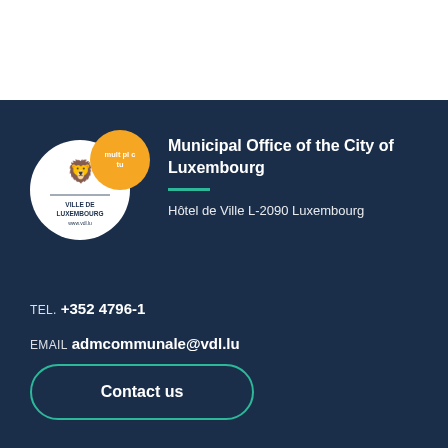[Figure (logo): Ville de Luxembourg logo: white circle with city crest and 'VILLE DE LUXEMBOURG www.vdl.lu' text, overlapping orange circle with 'mult pl c tu' text]
Municipal Office of the City of Luxembourg
Hôtel de Ville L-2090 Luxembourg
TEL. +352 4796-1
EMAIL admcommunale@vdl.lu
Contact us